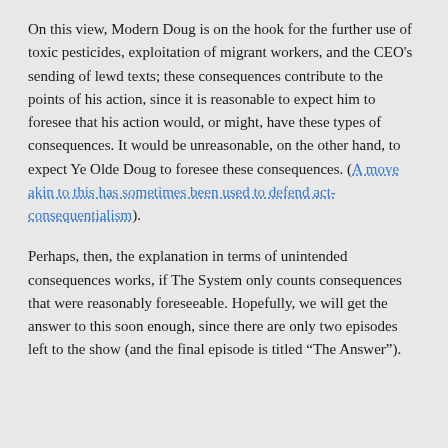On this view, Modern Doug is on the hook for the further use of toxic pesticides, exploitation of migrant workers, and the CEO's sending of lewd texts; these consequences contribute to the points of his action, since it is reasonable to expect him to foresee that his action would, or might, have these types of consequences. It would be unreasonable, on the other hand, to expect Ye Olde Doug to foresee these consequences. (A move akin to this has sometimes been used to defend act-consequentialism).
Perhaps, then, the explanation in terms of unintended consequences works, if The System only counts consequences that were reasonably foreseeable. Hopefully, we will get the answer to this soon enough, since there are only two episodes left to the show (and the final episode is titled “The Answer”).